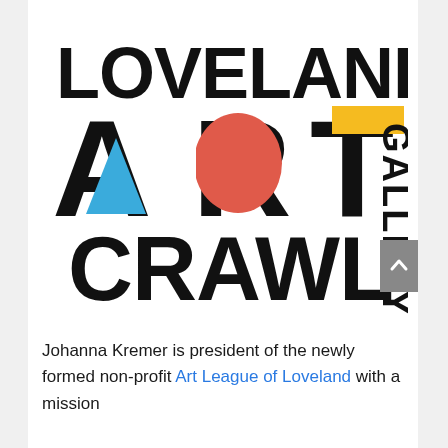[Figure (logo): Loveland Art Gallery Crawl logo. Large bold black text reading LOVELAND on top, below it ART in very large letters with a blue triangle inside the A, a red/coral semicircle inside the R, and a yellow rectangle above the T. To the right of ART, GALLERY is written vertically in bold black. Below, CRAWL in large bold black text.]
Johanna Kremer is president of the newly formed non-profit Art League of Loveland with a mission